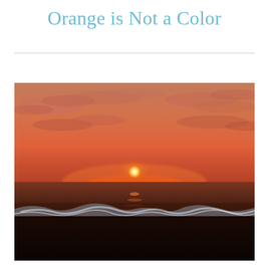Orange is Not a Color
[Figure (photo): Photograph of a beach sunset. The sun, a bright orange-white circle, sits just above the horizon line over a calm ocean. The sky is filled with orange, pink, and deep red hues with scattered clouds. Ocean waves with white foam break on a dark sandy beach in the foreground. The overall scene is bathed in warm orange and red tones.]